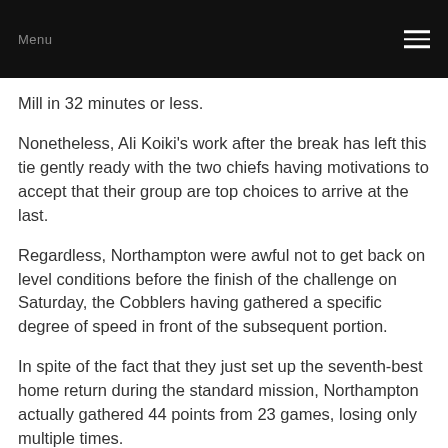Menu
Mill in 32 minutes or less.
Nonetheless, Ali Koiki's work after the break has left this tie gently ready with the two chiefs having motivations to accept that their group are top choices to arrive at the last.
Regardless, Northampton were awful not to get back on level conditions before the finish of the challenge on Saturday, the Cobblers having gathered a specific degree of speed in front of the subsequent portion.
In spite of the fact that they just set up the seventh-best home return during the standard mission, Northampton actually gathered 44 points from 23 games, losing only multiple times.